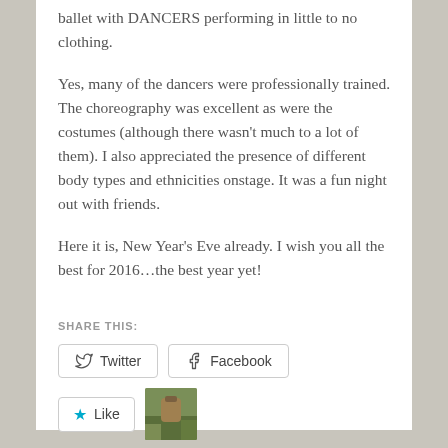ballet with DANCERS performing in little to no clothing.
Yes, many of the dancers were professionally trained. The choreography was excellent as were the costumes (although there wasn't much to a lot of them). I also appreciated the presence of different body types and ethnicities onstage. It was a fun night out with friends.
Here it is, New Year's Eve already. I wish you all the best for 2016…the best year yet!
SHARE THIS:
Twitter
Facebook
Like
One blogger likes this.